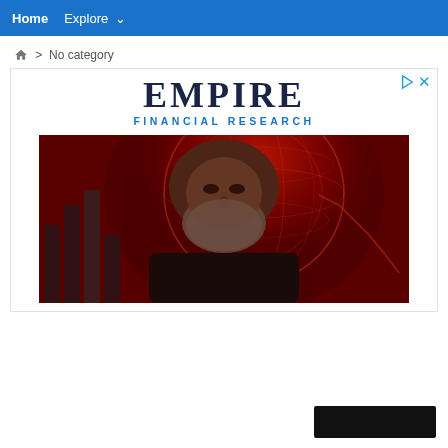Home   Explore
🏠 > No category
[Figure (screenshot): Empire Financial Research advertisement with logo text 'EMPIRE FINANCIAL RESEARCH' and a video still showing a bearded man in black shirt against a red globe/financial background]
[Figure (other): Small black rectangle at bottom right, likely a redacted or UI element]